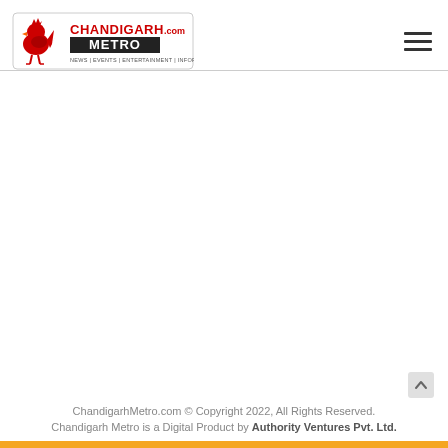[Figure (logo): ChandigarhMetro.com logo — red rooster icon on left, red CHANDIGARH text above black METRO block, .com text, tagline: NEWS | EVENTS | ENTERTAINMENT | INFORMATION]
ChandigarhMetro.com © Copyright 2022, All Rights Reserved.
Chandigarh Metro is a Digital Product by Authority Ventures Pvt. Ltd.